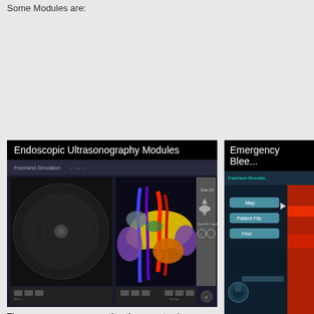Some Modules are:
[Figure (screenshot): Endoscopic Ultrasonography Modules simulation screenshot showing 3D anatomical visualization with colorful organ models (yellow, red, blue, purple) and ultrasound view panel]
The user maneuvers an authentic scope to view a realistic linear or radial real-time ultrasound display.
The trainee gains experience in correct scope maneuvering, interpretation of ultrasound images and landmark dentification. Special visual aids such as a realistic 3D anatomical representation are at the user's disposal.
[Figure (screenshot): Emergency Bleeding simulation screenshot showing FreeHand-Simulation interface with menu options (Map, Patient File, Find) on dark background with red accent]
It comprises of 10... emergency hemor...
The simulated... unpredictable na... trainee for act... situations.